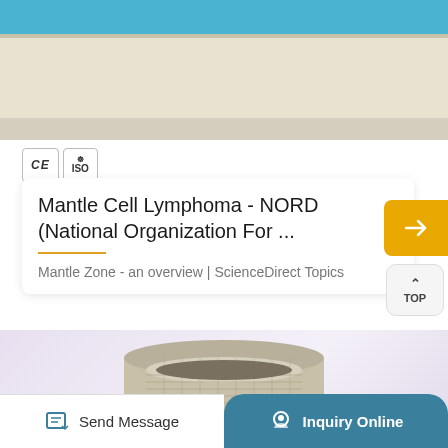[Figure (photo): Laboratory equipment (machine) with blue strip on top and rubber feet, cream/beige colored body, viewed from below/side angle]
[Figure (logo): CE certification mark and ISO certification mark badges]
Mantle Cell Lymphoma - NORD (National Organization For ...
Mantle Zone - an overview | ScienceDirect Topics
[Figure (photo): Circular cylindrical mesh filter or basket component, metallic beige/silver color, viewed from top-front angle on light purple/lavender background]
Send Message
Inquiry Online